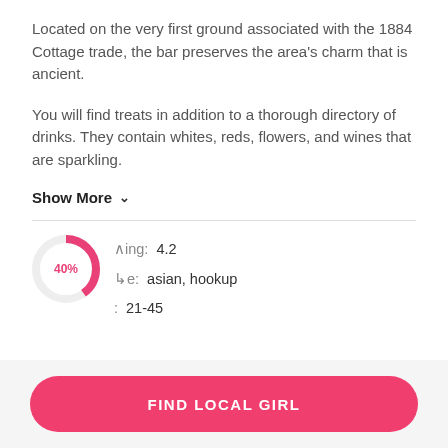Located on the very first ground associated with the 1884 Cottage trade, the bar preserves the area's charm that is ancient.
You will find treats in addition to a thorough directory of drinks. They contain whites, reds, flowers, and wines that are sparkling.
Show More ∨
[Figure (other): Partial donut/pie chart showing 40% with overlaid info rows: Rating: 4.2, Type: asian, hookup, Age: 21-45]
FIND LOCAL GIRL